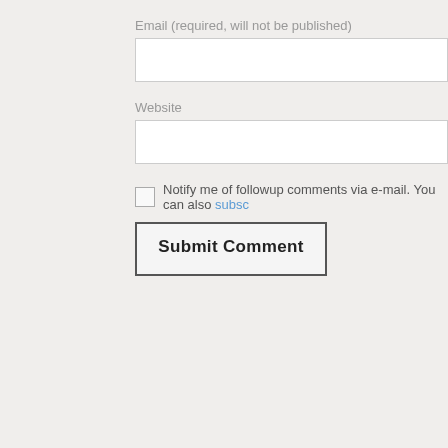Email (required, will not be published)
Website
Notify me of followup comments via e-mail. You can also subsc
Submit Comment